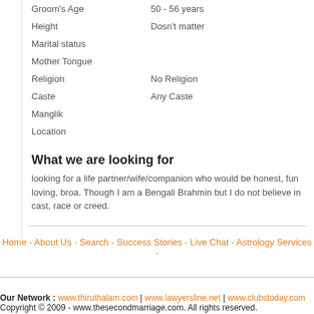Groom's Age: 50 - 56 years
Height: Dosn't matter
Marital status:
Mother Tongue:
Religion: No Religion
Caste: Any Caste
Manglik:
Location:
What we are looking for
looking for a life partner/wife/companion who would be honest, fun loving, broa. Though I am a Bengali Brahmin but I do not believe in cast, race or creed.
Home - About Us - Search - Success Stories - Live Chat - Astrology Services -
Our Network : www.thiruthalam.com | www.lawyersline.net | www.clubstoday.com
Copyright © 2009 - www.thesecondmarriage.com. All rights reserved.